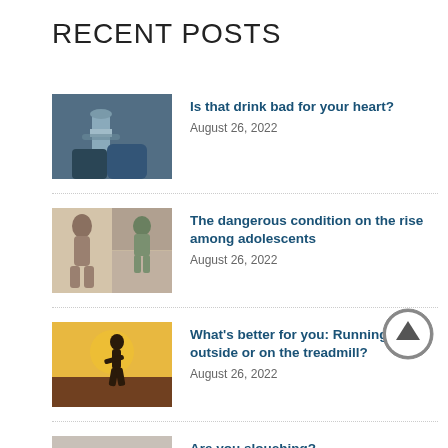RECENT POSTS
Is that drink bad for your heart? | August 26, 2022
The dangerous condition on the rise among adolescents | August 26, 2022
What's better for you: Running outside or on the treadmill? | August 26, 2022
Are you slouching? | August 26, 2022
8 unusual signs your body is stressed | August 24, 2022
[Figure (other): Scroll-to-top arrow button icon]